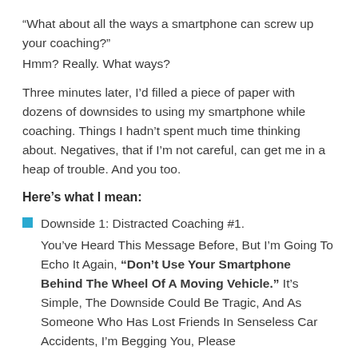“What about all the ways a smartphone can screw up your coaching?”
Hmm? Really. What ways?
Three minutes later, I’d filled a piece of paper with dozens of downsides to using my smartphone while coaching. Things I hadn’t spent much time thinking about. Negatives, that if I’m not careful, can get me in a heap of trouble. And you too.
Here’s what I mean:
Downside 1: Distracted Coaching #1.
You’ve Heard This Message Before, But I’m Going To Echo It Again, “Don’t Use Your Smartphone Behind The Wheel Of A Moving Vehicle.” It’s Simple, The Downside Could Be Tragic, And As Someone Who Has Lost Friends In Senseless Car Accidents, I’m Begging You, Please